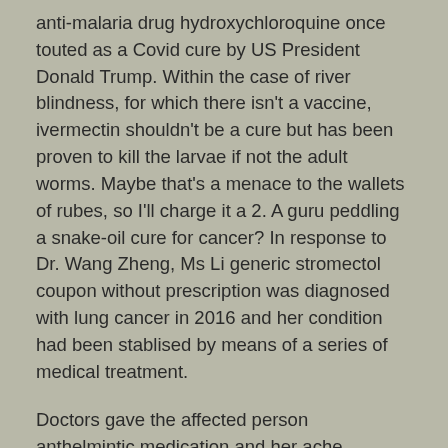anti-malaria drug hydroxychloroquine once touted as a Covid cure by US President Donald Trump. Within the case of river blindness, for which there isn't a vaccine, ivermectin shouldn't be a cure but has been proven to kill the larvae if not the adult worms. Maybe that's a menace to the wallets of rubes, so I'll charge it a 2. A guru peddling a snake-oil cure for cancer? In response to Dr. Wang Zheng, Ms Li generic stromectol coupon without prescription was diagnosed with lung cancer in 2016 and her condition had been stablised by means of a series of medical treatment.
Doctors gave the affected person anthelmintic medication and her ache disappeared the next day, in keeping with the report. During the examination, doctors had been shocked to find reside worms in Ms Li's intestines. It is generic stromectol coupon without prescription alleged that medical doctors at the Xi'an Central Hospital obtained the lady, recognized by her surname Li, earlier this month. The